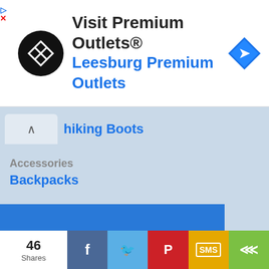[Figure (screenshot): Advertisement banner for Premium Outlets with logo and navigation arrow icon]
hiking Boots
Accessories
Backpacks
We and our partners use cookies on this site to analyze our traffic and personalize ad content. By continuing to use this site we will assume that you are happy with this. Learn more
Got it!
46 Shares